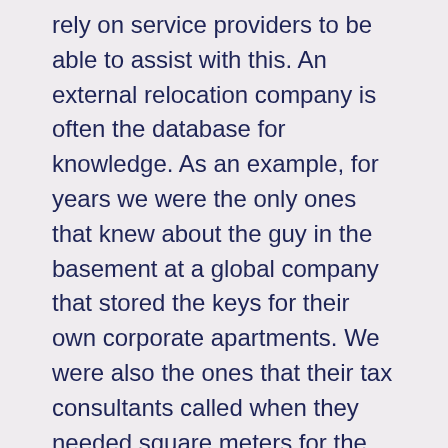rely on service providers to be able to assist with this. An external relocation company is often the database for knowledge. As an example, for years we were the only ones that knew about the guy in the basement at a global company that stored the keys for their own corporate apartments. We were also the ones that their tax consultants called when they needed square meters for the housing provided to be able to create the income statements for the employees. We were of great importance to them and we were happy to help.
What is out of scope
Relocation companies are very familiar